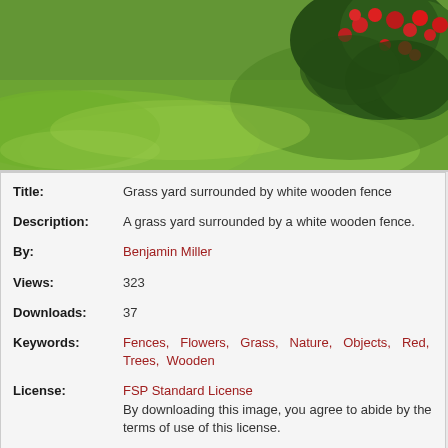[Figure (photo): Photograph of a grass yard with green lawn and red flowering bushes/roses in the upper right corner against a white wooden fence background.]
| Title: | Grass yard surrounded by white wooden fence |
| Description: | A grass yard surrounded by a white wooden fence. |
| By: | Benjamin Miller |
| Views: | 323 |
| Downloads: | 37 |
| Keywords: | Fences, Flowers, Grass, Nature, Objects, Red, Trees, Wooden |
| License: | FSP Standard License
By downloading this image, you agree to abide by the terms of use of this license. |
[Figure (logo): FREESTOCKPHOTOS.BIZ Standard License badge — black circle with yellow S letter, bordered rectangle with STANDARD LICENSE text.]